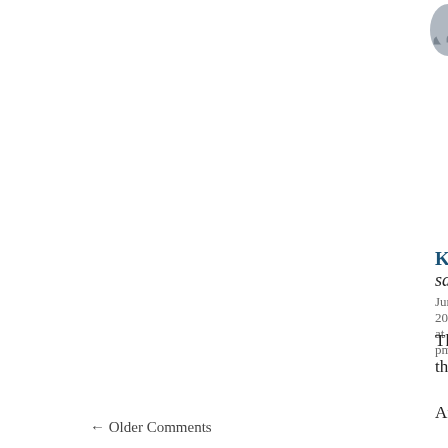Matthew Krajcik says: June 2, 2020 at 12:28 am
Alabama and Georgia have l... of guns, the will of the gover... doesn't seem to be much goi...
Kim says: June 1, 2020 at 8:00 pm
The issue is not in fact guns. It is raci... the Middle East, in Africa or whereve...
And wherever we find racial conflict,
← Older Comments